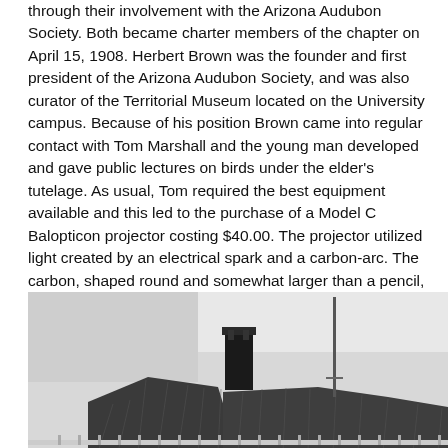through their involvement with the Arizona Audubon Society. Both became charter members of the chapter on April 15, 1908. Herbert Brown was the founder and first president of the Arizona Audubon Society, and was also curator of the Territorial Museum located on the University campus. Because of his position Brown came into regular contact with Tom Marshall and the young man developed and gave public lectures on birds under the elder's tutelage. As usual, Tom required the best equipment available and this led to the purchase of a Model C Balopticon projector costing $40.00. The projector utilized light created by an electrical spark and a carbon-arc. The carbon, shaped round and somewhat larger than a pencil, was fed into the machine by the operator. It took skill to feed the carbon at the correct speed. The slides Tom used were standard from the 1890s; a 4"x3-1/4" glass plate with emulsion on side to retain the image.
[Figure (photo): Black and white photograph showing rooftops of buildings including a chimney and a vertical pole or antenna, taken from a low angle looking up. The sky is light/overcast.]